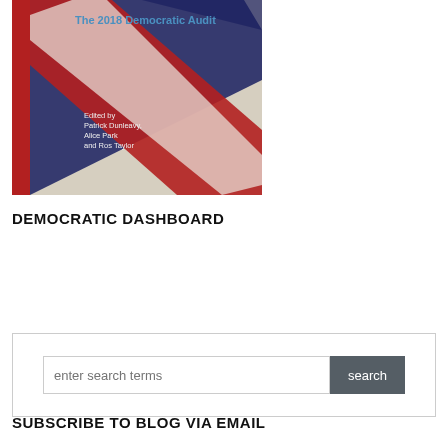[Figure (illustration): Book cover of 'The 2018 Democratic Audit' edited by Patrick Dunleavy, Alice Park and Ros Taylor. Features a distressed Union Jack flag design in red, white, and blue diagonal stripes on the cover.]
DEMOCRATIC DASHBOARD
enter search terms [search button]
SUBSCRIBE TO BLOG VIA EMAIL